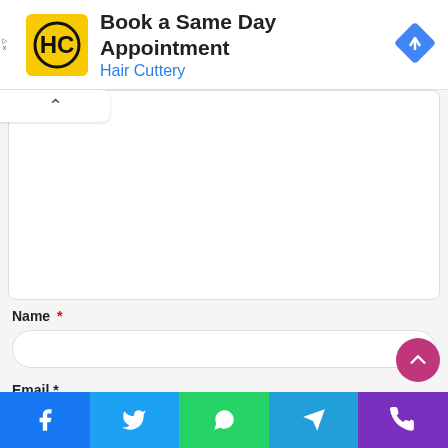[Figure (screenshot): Hair Cuttery advertisement banner with yellow HC logo, title 'Book a Same Day Appointment', subtitle 'Hair Cuttery', and a blue diamond navigation icon on the right.]
[Figure (screenshot): Web form with a collapsed textarea section (with up-caret), Name field with asterisk, Email field with asterisk, and Website label. A pink scroll-to-top button is in the lower right.]
[Figure (screenshot): Social sharing bar at the bottom with Facebook, Twitter, WhatsApp, Telegram, and Phone buttons.]